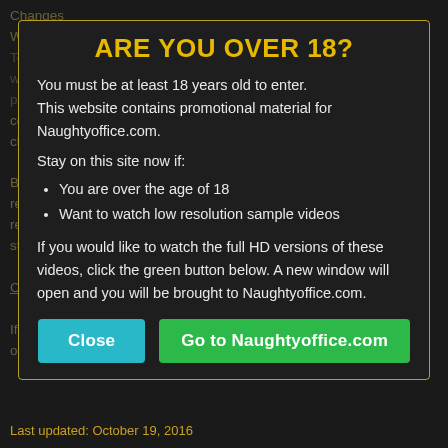ARE YOU OVER 18?
You must be at least 18 years old to enter.
This website contains promotional material for Naughtyoffice.com.
Stay on this site now if:
You are over the age of 18
Want to watch low resolution sample videos
If you would like to watch the full HD versions of these videos, click the green button below. A new window will open and you will be brought to Naughtyoffice.com.
Last updated: October 19, 2016